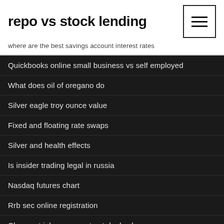repo vs stock lending
where are the best savings account interest rates
Quickbooks online small business vs self employed
What does oil of oregano do
Silver eagle troy ounce value
Fixed and floating rate swaps
Silver and health effects
Is insider trading legal in russia
Nasdaq futures chart
Rrb sec online registration
Cheapest iphone xr contract deals uk
Colombian peso to usd chart